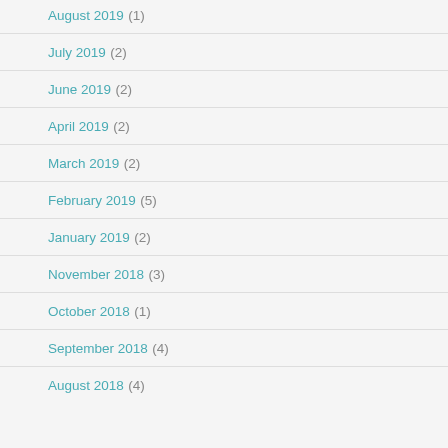August 2019 (1)
July 2019 (2)
June 2019 (2)
April 2019 (2)
March 2019 (2)
February 2019 (5)
January 2019 (2)
November 2018 (3)
October 2018 (1)
September 2018 (4)
August 2018 (4)